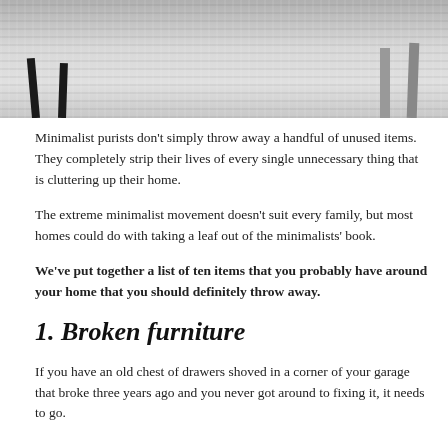[Figure (photo): Photo of furniture legs on a light gray textured rug, partially cropped at top]
Minimalist purists don't simply throw away a handful of unused items. They completely strip their lives of every single unnecessary thing that is cluttering up their home.
The extreme minimalist movement doesn't suit every family, but most homes could do with taking a leaf out of the minimalists' book.
We've put together a list of ten items that you probably have around your home that you should definitely throw away.
1. Broken furniture
If you have an old chest of drawers shoved in a corner of your garage that broke three years ago and you never got around to fixing it, it needs to go.